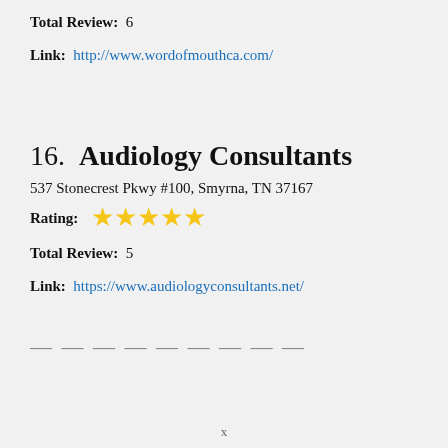Total Review:  6
Link:  http://www.wordofmouthca.com/
16.  Audiology Consultants
537 Stonecrest Pkwy #100, Smyrna, TN 37167
Rating: ★★★★★
Total Review:  5
Link:  https://www.audiologyconsultants.net/